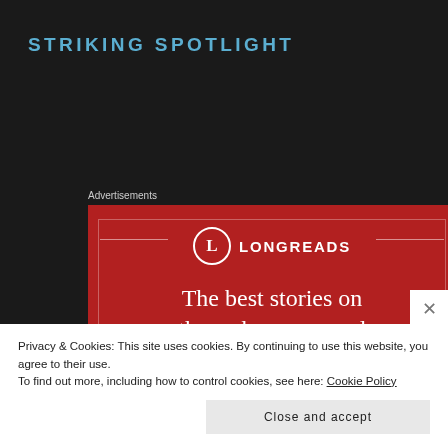STRIKING SPOTLIGHT
Advertisements
[Figure (infographic): Longreads advertisement with red background. Shows Longreads logo (circle with L) and text: 'The best stories on the web – ours, and everyone else's']
Privacy & Cookies: This site uses cookies. By continuing to use this website, you agree to their use.
To find out more, including how to control cookies, see here: Cookie Policy
Close and accept
NOTIFICATION AS